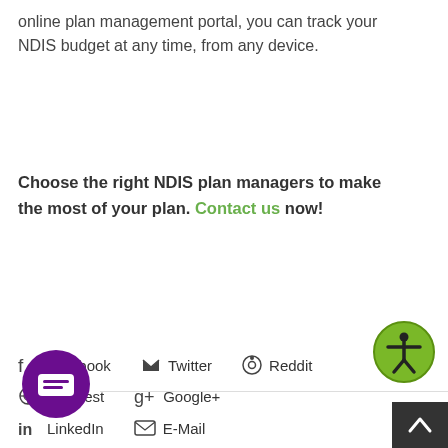online plan management portal, you can track your NDIS budget at any time, from any device.
Choose the right NDIS plan managers to make the most of your plan. Contact us now!
[Figure (other): Accessibility icon button - green circle with person symbol]
[Figure (other): Social media sharing links: Facebook, Twitter, Reddit, Pinterest, Google+, LinkedIn, E-Mail]
[Figure (other): Purple chat bubble button]
[Figure (other): Dark grey back-to-top button with upward arrow]